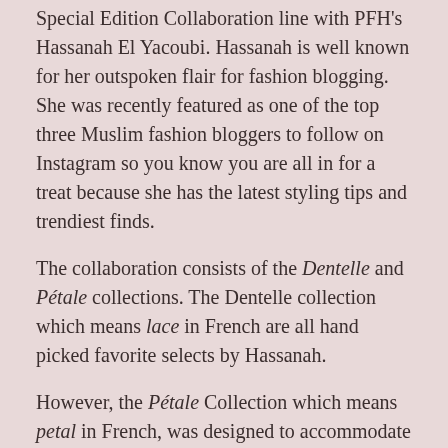Special Edition Collaboration line with PFH's Hassanah El Yacoubi. Hassanah is well known for her outspoken flair for fashion blogging.  She was recently featured as one of the top three Muslim fashion bloggers to follow on Instagram so you know you are all in for a treat because she has the latest styling tips and trendiest finds.
The collaboration consists of the Dentelle and Pétale collections. The Dentelle collection which means lace in French are all hand picked favorite selects by Hassanah.
However, the Pétale Collection which means petal in French, was designed to accommodate the aesthetics of Hassanah and PFH.  Hassanah has wonderful styling tips and designed innovative ways to wrap the scarf. It will be the next trend in hijab styling so stay tuned for her video tutorials and blog Inshallah at getpfh.com